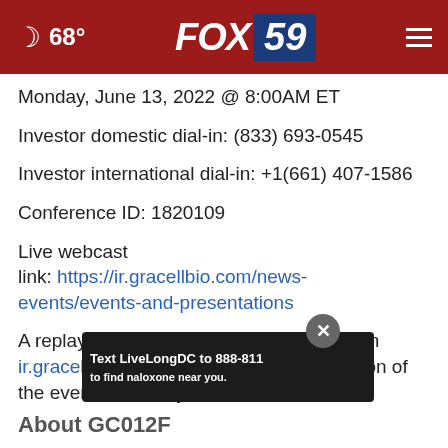🌙 68° | FOX 59
Monday, June 13, 2022 @ 8:00AM ET
Investor domestic dial-in: (833) 693-0545
Investor international dial-in: +1(661) 407-1586
Conference ID: 1820109
Live webcast link: https://ir.gracellbio.com/news-events/events-and-presentations
A replay of the webcast will be available on ir.gracellbio.com shortly after the conclusion of the event for 90 days.
[Figure (infographic): Advertisement banner: Text LiveLongDC to 888-811 to find naloxone near you.]
About GC012F